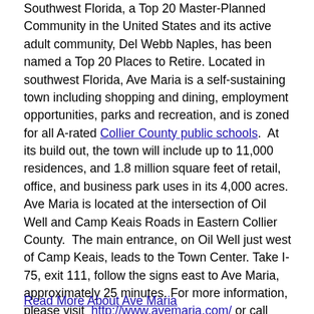Southwest Florida, a Top 20 Master-Planned Community in the United States and its active adult community, Del Webb Naples, has been named a Top 20 Places to Retire. Located in southwest Florida, Ave Maria is a self-sustaining town including shopping and dining, employment opportunities, parks and recreation, and is zoned for all A-rated Collier County public schools.  At its build out, the town will include up to 11,000 residences, and 1.8 million square feet of retail, office, and business park uses in its 4,000 acres.  Ave Maria is located at the intersection of Oil Well and Camp Keais Roads in Eastern Collier County.  The main entrance, on Oil Well just west of Camp Keais, leads to the Town Center. Take I-75, exit 111, follow the signs east to Ave Maria, approximately 25 minutes. For more information, please visit  http://www.avemaria.com/ or call 239-352-3903.
Read More About Ave Maria